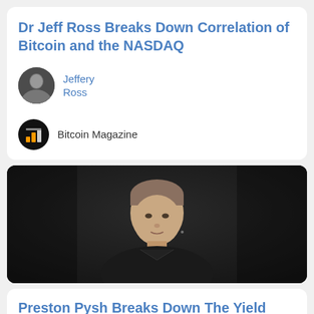Dr Jeff Ross Breaks Down Correlation of Bitcoin and the NASDAQ
Jeffery Ross
Bitcoin Magazine
[Figure (photo): Video thumbnail showing a man with short hair looking upward, against a dark background, appears to be a conference or presentation setting]
Preston Pysh Breaks Down The Yield